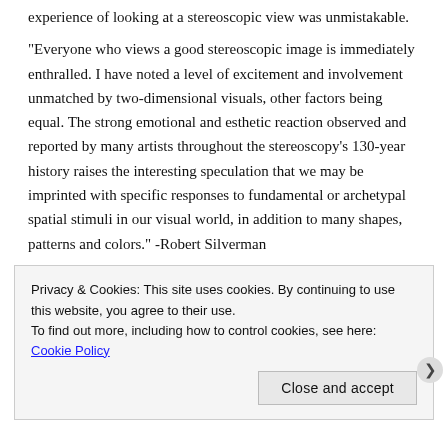experience of looking at a stereoscopic view was unmistakable.
"Everyone who views a good stereoscopic image is immediately enthralled. I have noted a level of excitement and involvement unmatched by two-dimensional visuals, other factors being equal. The strong emotional and esthetic reaction observed and reported by many artists throughout the stereoscopy's 130-year history raises the interesting speculation that we may be imprinted with specific responses to fundamental or archetypal spatial stimuli in our visual world, in addition to many shapes, patterns and colors." -Robert Silverman
As a twenty-first century American living in the digital age, I did not expect to be very taken with stereoviews. The contrary proved to be true. I was nothing short of enthralled. I didn't just see the tallest
Privacy & Cookies: This site uses cookies. By continuing to use this website, you agree to their use.
To find out more, including how to control cookies, see here: Cookie Policy
Close and accept